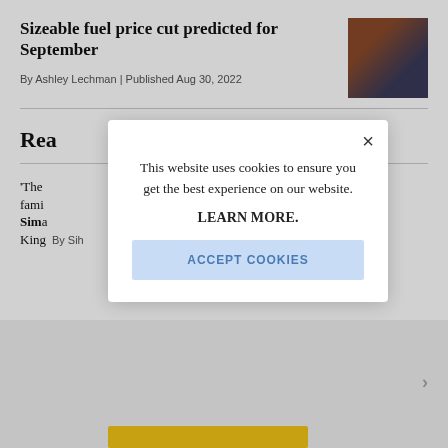Sizeable fuel price cut predicted for September
By Ashley Lechman | Published Aug 30, 2022
[Figure (photo): Photo of person fueling a vehicle with a green pump nozzle]
Rea
'The fami Sima King
By Sih
This website uses cookies to ensure you get the best experience on our website.

LEARN MORE.
ACCEPT COOKIES